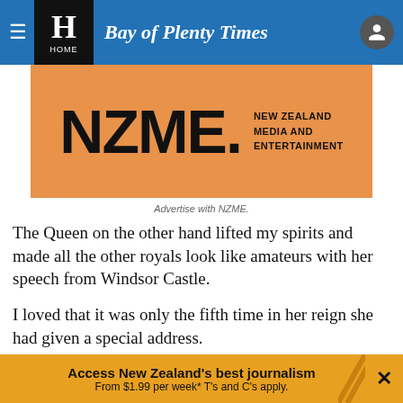Bay of Plenty Times
[Figure (logo): NZME - New Zealand Media and Entertainment orange advertisement banner]
Advertise with NZME.
The Queen on the other hand lifted my spirits and made all the other royals look like amateurs with her speech from Windsor Castle.
I loved that it was only the fifth time in her reign she had given a special address.
She looked so regal (goes without saying) in her green
Access New Zealand's best journalism From $1.99 per week* T's and C's apply.